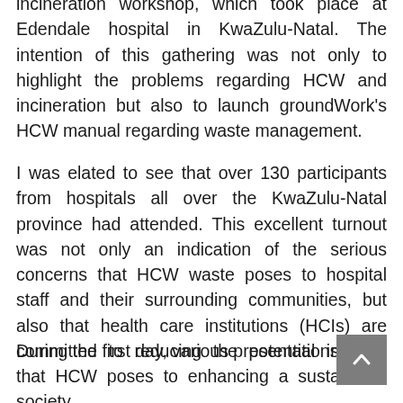incineration workshop, which took place at Edendale hospital in KwaZulu-Natal. The intention of this gathering was not only to highlight the problems regarding HCW and incineration but also to launch groundWork's HCW manual regarding waste management.
I was elated to see that over 130 participants from hospitals all over the KwaZulu-Natal province had attended. This excellent turnout was not only an indication of the serious concerns that HCW waste poses to hospital staff and their surrounding communities, but also that health care institutions (HCIs) are committed to reducing the potential impacts that HCW poses to enhancing a sustainable society.
During the first day, various presentations regarding HCW and incineration...